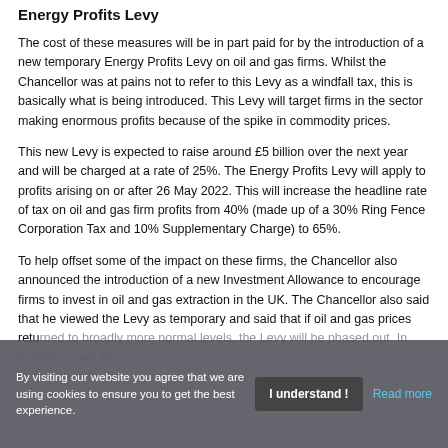Energy Profits Levy
The cost of these measures will be in part paid for by the introduction of a new temporary Energy Profits Levy on oil and gas firms. Whilst the Chancellor was at pains not to refer to this Levy as a windfall tax, this is basically what is being introduced. This Levy will target firms in the sector making enormous profits because of the spike in commodity prices.
This new Levy is expected to raise around £5 billion over the next year and will be charged at a rate of 25%. The Energy Profits Levy will apply to profits arising on or after 26 May 2022. This will increase the headline rate of tax on oil and gas firm profits from 40% (made up of a 30% Ring Fence Corporation Tax and 10% Supplementary Charge) to 65%.
To help offset some of the impact on these firms, the Chancellor also announced the introduction of a new Investment Allowance to encourage firms to invest in oil and gas extraction in the UK. The Chancellor also said that he viewed the Levy as temporary and said that if oil and gas prices returned to broadly more normal levels, the Levy will be phased out. In addition, the legislation will also